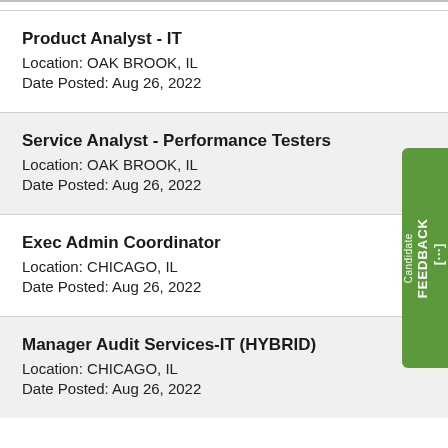Product Analyst - IT
Location: OAK BROOK, IL
Date Posted: Aug 26, 2022
Service Analyst - Performance Testers
Location: OAK BROOK, IL
Date Posted: Aug 26, 2022
Exec Admin Coordinator
Location: CHICAGO, IL
Date Posted: Aug 26, 2022
Manager Audit Services-IT (HYBRID)
Location: CHICAGO, IL
Date Posted: Aug 26, 2022